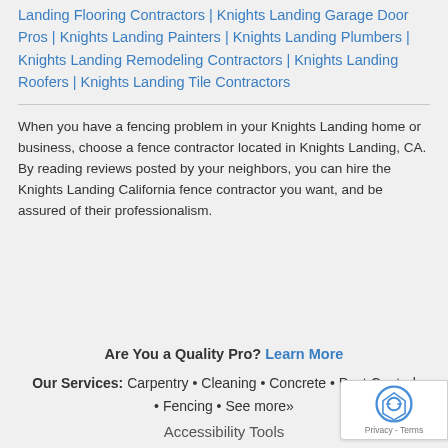Landing Flooring Contractors | Knights Landing Garage Door Pros | Knights Landing Painters | Knights Landing Plumbers | Knights Landing Remodeling Contractors | Knights Landing Roofers | Knights Landing Tile Contractors
When you have a fencing problem in your Knights Landing home or business, choose a fence contractor located in Knights Landing, CA. By reading reviews posted by your neighbors, you can hire the Knights Landing California fence contractor you want, and be assured of their professionalism.
Are You a Quality Pro? Learn More
Our Services: Carpentry • Cleaning • Concrete • Pest Control • Fencing • See more»
Accessibility Tools